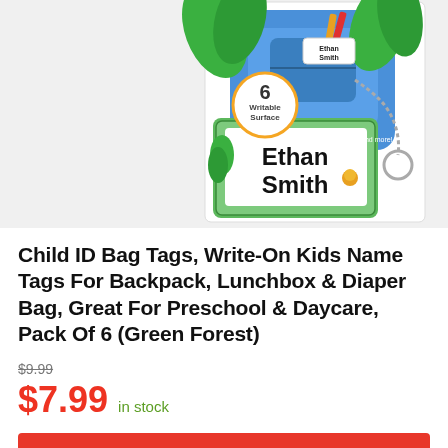[Figure (illustration): Product image showing colorful children's name tags with jungle/forest animal theme. A large green name tag reads 'Ethan Smith' with jungle animal illustrations. A blue backpack is visible in the background, and a smaller tag on a chain also reads 'Ethan Smith'. Text on package reads '6 Writable Surface'.]
Child ID Bag Tags, Write-On Kids Name Tags For Backpack, Lunchbox & Diaper Bag, Great For Preschool & Daycare, Pack Of 6 (Green Forest)
$9.99
$7.99 in stock
BUY NOW